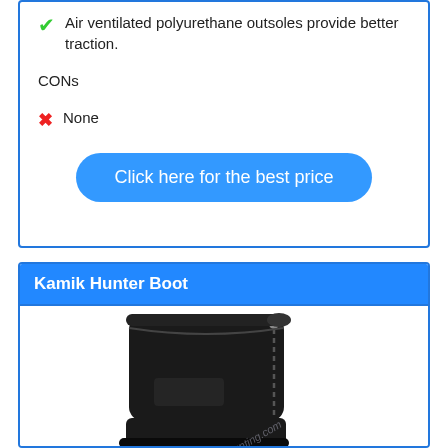Air ventilated polyurethane outsoles provide better traction.
CONs
None
Click here for the best price
Kamik Hunter Boot
[Figure (photo): Black Kamik Hunter Boot standing upright, tall rubber/neoprene boot with zipper, watermark text 'hunting.com' overlaid diagonally]